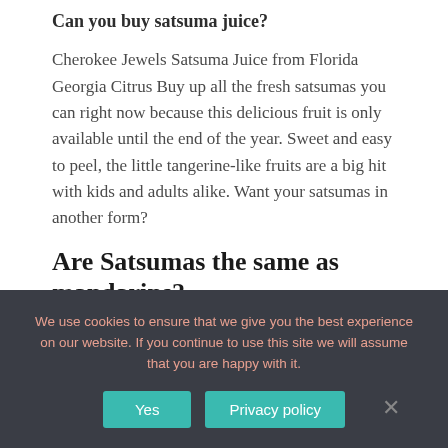Can you buy satsuma juice?
Cherokee Jewels Satsuma Juice from Florida Georgia Citrus Buy up all the fresh satsumas you can right now because this delicious fruit is only available until the end of the year. Sweet and easy to peel, the little tangerine-like fruits are a big hit with kids and adults alike. Want your satsumas in another form?
Are Satsumas the same as mandarins?
Mandarins are a type of orange and the
We use cookies to ensure that we give you the best experience on our website. If you continue to use this site we will assume that you are happy with it.